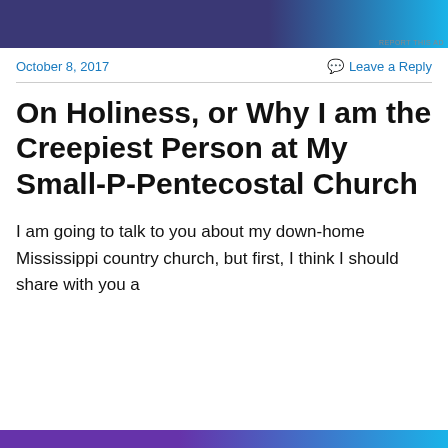[Figure (other): Purple and blue advertisement banner at top of page]
October 8, 2017   Leave a Reply
On Holiness, or Why I am the Creepiest Person at My Small-P-Pentecostal Church
I am going to talk to you about my down-home Mississippi country church, but first, I think I should share with you a
Privacy & Cookies: This site uses cookies. By continuing to use this website, you agree to their use.
To find out more, including how to control cookies, see here: Cookie Policy
Close and accept